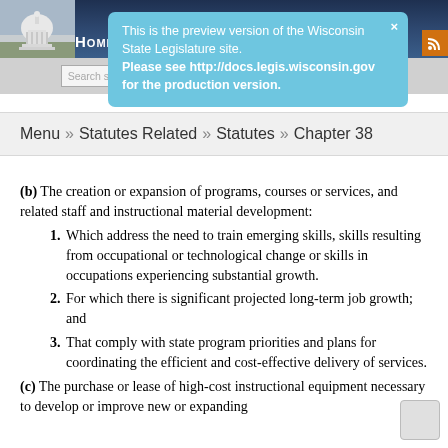[Figure (screenshot): Wisconsin State Legislature website header with capitol building image and Home navigation link]
This is the preview version of the Wisconsin State Legislature site. Please see http://docs.legis.wisconsin.gov for the production version.
Menu » Statutes Related » Statutes » Chapter 38
(b) The creation or expansion of programs, courses or services, and related staff and instructional material development:
1. Which address the need to train emerging skills, skills resulting from occupational or technological change or skills in occupations experiencing substantial growth.
2. For which there is significant projected long-term job growth; and
3. That comply with state program priorities and plans for coordinating the efficient and cost-effective delivery of services.
(c) The purchase or lease of high-cost instructional equipment necessary to develop or improve new or expanding